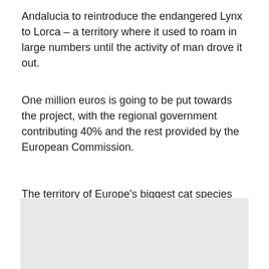Andalucia to reintroduce the endangered Lynx to Lorca – a territory where it used to roam in large numbers until the activity of man drove it out.
One million euros is going to be put towards the project, with the regional government contributing 40% and the rest provided by the European Commission.
The territory of Europe's biggest cat species has been steadily increasing in recent years following massive conservation efforts.
[Figure (other): Light gray rectangular image placeholder at the bottom of the page]